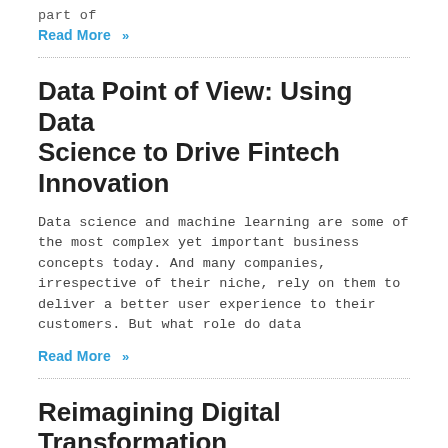part of
Read More »
Data Point of View: Using Data Science to Drive Fintech Innovation
Data science and machine learning are some of the most complex yet important business concepts today. And many companies, irrespective of their niche, rely on them to deliver a better user experience to their customers. But what role do data
Read More »
Reimagining Digital Transformation with Open Banking